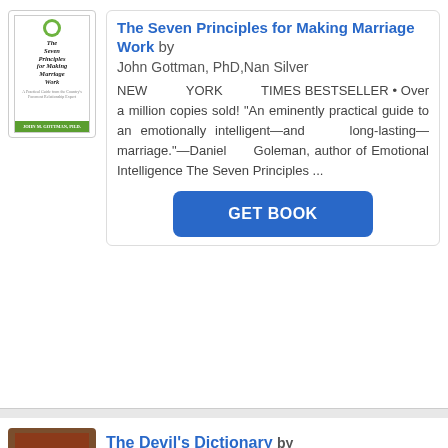[Figure (illustration): Book cover of 'The Seven Principles for Making Marriage Work' with green circle logo and green bar at bottom]
The Seven Principles for Making Marriage Work by John Gottman, PhD,Nan Silver
NEW YORK TIMES BESTSELLER • Over a million copies sold! “An eminently practical guide to an emotionally intelligent—and long-lasting—marriage.”—Daniel Goleman, author of Emotional Intelligence The Seven Principles ...
GET BOOK
[Figure (illustration): Book cover of 'The Devil's Dictionary' with brown/red background and gold title text]
The Devil's Dictionary by